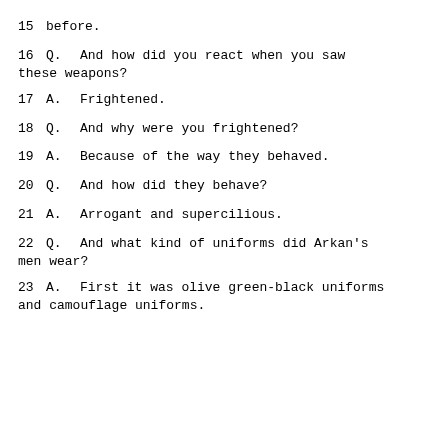15    before.
16        Q.    And how did you react when you saw these weapons?
17        A.    Frightened.
18        Q.    And why were you frightened?
19        A.    Because of the way they behaved.
20        Q.    And how did they behave?
21        A.    Arrogant and supercilious.
22        Q.    And what kind of uniforms did Arkan's men wear?
23        A.    First it was olive green-black uniforms and camouflage uniforms.